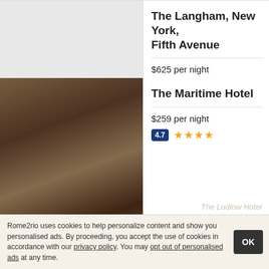[Figure (photo): Top hotel card with grey placeholder image for The Langham New York]
The Langham, New York, Fifth Avenue
$625 per night
4.7 ★★★★★
[Figure (photo): Interior photo of The Maritime Hotel showing a dimly lit bar/lounge area]
The Maritime Hotel
$259 per night
4.7 ★★★★
The Ludlow Hotel
Rome2rio uses cookies to help personalize content and show you personalised ads. By proceeding, you accept the use of cookies in accordance with our privacy policy. You may opt out of personalised ads at any time.